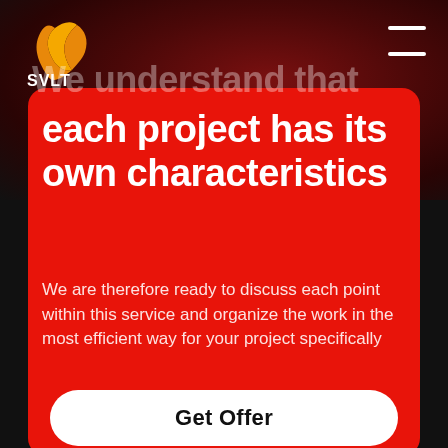[Figure (logo): SVLT company logo with orange/yellow swoosh mark and white SVLT text]
We understand that each project has its own characteristics
We are therefore ready to discuss each point within this service and organize the work in the most efficient way for your project specifically
Get Offer